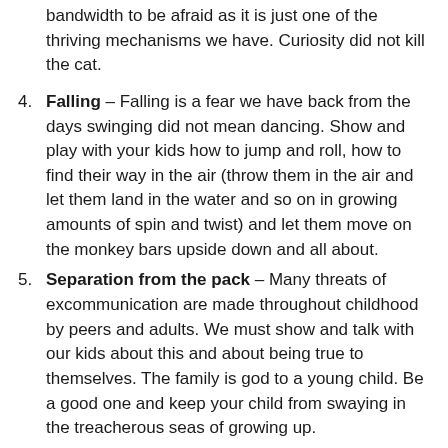(continuation) bandwidth to be afraid as it is just one of the thriving mechanisms we have. Curiosity did not kill the cat.
4. Falling – Falling is a fear we have back from the days swinging did not mean dancing. Show and play with your kids how to jump and roll, how to find their way in the air (throw them in the air and let them land in the water and so on in growing amounts of spin and twist) and let them move on the monkey bars upside down and all about.
5. Separation from the pack – Many threats of excommunication are made throughout childhood by peers and adults. We must show and talk with our kids about this and about being true to themselves. The family is god to a young child. Be a good one and keep your child from swaying in the treacherous seas of growing up.
6. Sudden loss of senses – Disorienting and overwhelming experiences create a reset in our